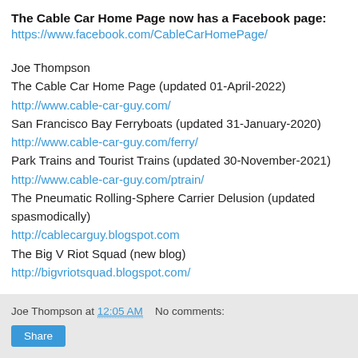The Cable Car Home Page now has a Facebook page: https://www.facebook.com/CableCarHomePage/
Joe Thompson
The Cable Car Home Page (updated 01-April-2022)
http://www.cable-car-guy.com/
San Francisco Bay Ferryboats (updated 31-January-2020)
http://www.cable-car-guy.com/ferry/
Park Trains and Tourist Trains (updated 30-November-2021)
http://www.cable-car-guy.com/ptrain/
The Pneumatic Rolling-Sphere Carrier Delusion (updated spasmodically)
http://cablecarguy.blogspot.com
The Big V Riot Squad (new blog)
http://bigvriotsquad.blogspot.com/
Joe Thompson at 12:05 AM   No comments:   Share